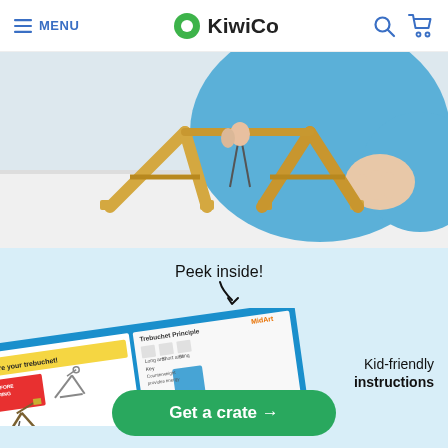MENU | KiwiCo
[Figure (photo): Child assembling a wooden trebuchet model kit on a white surface, wearing a blue shirt]
Peek inside!
[Figure (photo): KiwiCo instruction booklet shown at an angle with trebuchet building instructions, opened to show illustrated step-by-step pages. Text overlay: Kid-friendly instructions]
Kid-friendly instructions
Get a crate →